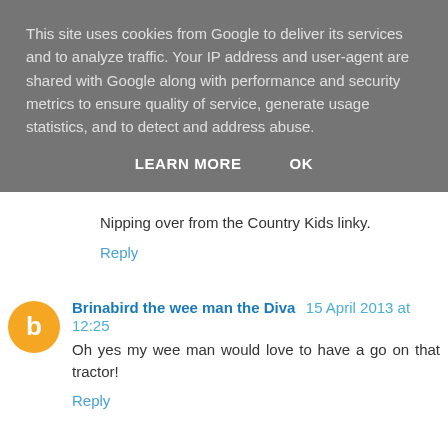This site uses cookies from Google to deliver its services and to analyze traffic. Your IP address and user-agent are shared with Google along with performance and security metrics to ensure quality of service, generate usage statistics, and to detect and address abuse.
LEARN MORE   OK
Nipping over from the Country Kids linky.
Reply
Brinabird the wee man the Diva  15 April 2013 at 12:25
Oh yes my wee man would love to have a go on that tractor!
Reply
Sarahmumof3  16 April 2013 at 12:19
how great that he can experience the country life that he